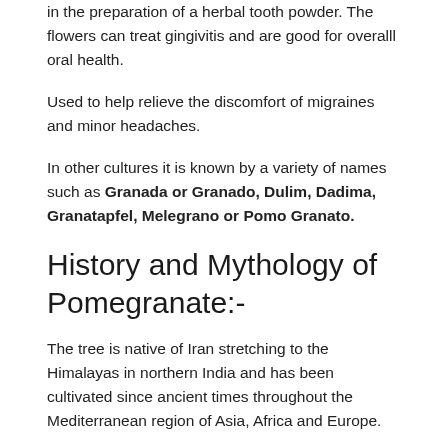in the preparation of a herbal tooth powder. The flowers can treat gingivitis and are good for overalll oral health.
Used to help relieve the discomfort of migraines and minor headaches.
In other cultures it is known by a variety of names such as Granada or Granado, Dulim, Dadima, Granatapfel, Melegrano or Pomo Granato.
History and Mythology of Pomegranate:-
The tree is native of Iran stretching to the Himalayas in northern India and has been cultivated since ancient times throughout the Mediterranean region of Asia, Africa and Europe.
The fruit was used in many ways as it is today and was featured in Egyptian mythology and ancient cuisine...